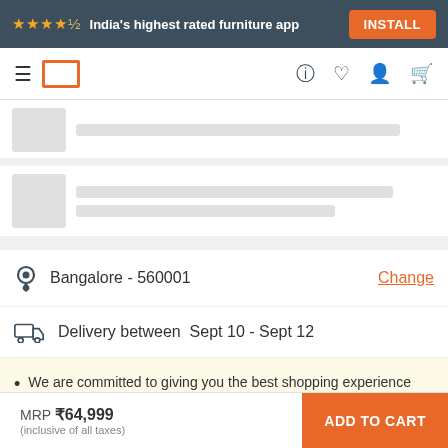★★★★½ India's highest rated furniture app  INSTALL
[Figure (screenshot): Navigation bar with hamburger menu, Pepperfry logo box, and icons for help, wishlist, account, and cart]
[Figure (screenshot): Skeleton loader rows showing placeholder product thumbnails and text lines]
Bangalore - 560001  Change
Delivery between  Sept 10 - Sept 12
We are committed to giving you the best shopping experience with on-time deliveries and quality products. We provide swift installation within 48 hours from the day of delivery. Happy shopping!
MRP ₹64,999 (inclusive of all taxes)  ADD TO CART